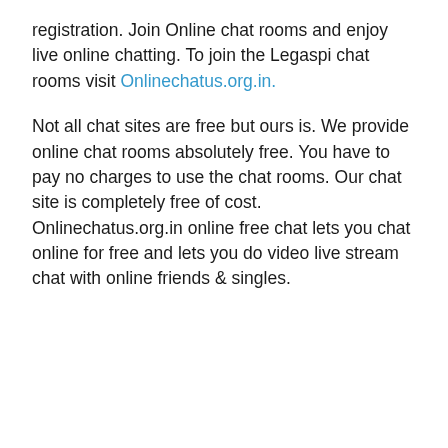registration. Join Online chat rooms and enjoy live online chatting. To join the Legaspi chat rooms visit Onlinechatus.org.in.
Not all chat sites are free but ours is. We provide online chat rooms absolutely free. You have to pay no charges to use the chat rooms. Our chat site is completely free of cost. Onlinechatus.org.in online free chat lets you chat online for free and lets you do video live stream chat with online friends & singles.